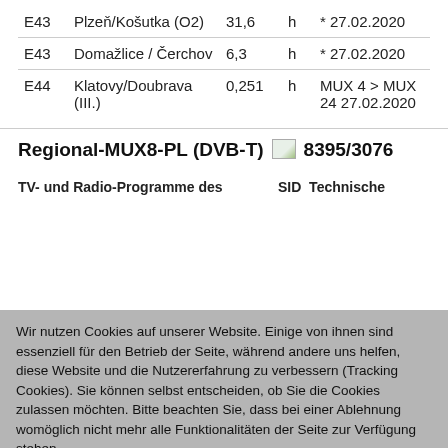|  | Name | Wert |  | Datum |
| --- | --- | --- | --- | --- |
| E43 | Plzeň/Košutka (O2) | 31,6 | h | * 27.02.2020 |
| E43 | Domažlice / Čerchov | 6,3 | h | * 27.02.2020 |
| E44 | Klatovy/Doubrava (III.) | 0,251 | h | MUX 4 > MUX 24 27.02.2020 |
Regional-MUX8-PL (DVB-T) 8395/3076
| TV- und Radio-Programme des | SID | Technische |
| --- | --- | --- |
Wir nutzen Cookies auf unserer Website. Einige von ihnen sind essenziell für den Betrieb der Seite, während andere uns helfen, diese Website und die Nutzererfahrung zu verbessern (Tracking Cookies). Sie können selbst entscheiden, ob Sie die Cookies zulassen möchten. Bitte beachten Sie, dass bei einer Ablehnung womöglich nicht mehr alle Funktionalitäten der Seite zur Verfügung stehen.
Akzeptieren
Ablehnen
Weitere Informationen